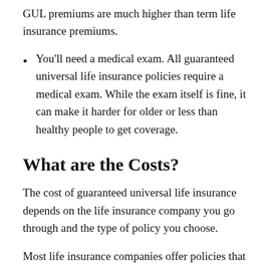GUL premiums are much higher than term life insurance premiums.
You'll need a medical exam. All guaranteed universal life insurance policies require a medical exam. While the exam itself is fine, it can make it harder for older or less than healthy people to get coverage.
What are the Costs?
The cost of guaranteed universal life insurance depends on the life insurance company you go through and the type of policy you choose.
Most life insurance companies offer policies that are